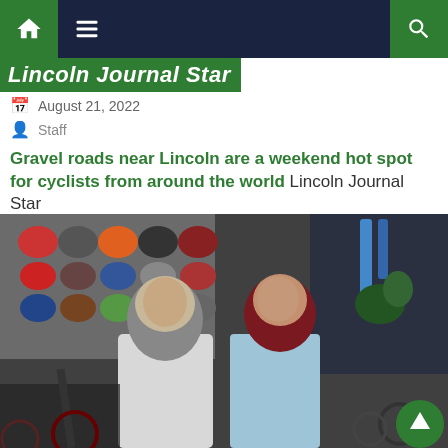Navigation bar with home, menu, and search icons
Lincoln Journal Star
August 21, 2022
Staff
Gravel roads near Lincoln are a weekend hot spot for cyclists from around the world  Lincoln Journal Star
[Figure (photo): Two women wearing hijabs posing in a bicycle shop with helmets displayed on the wall in the background and many bicycles around them.]